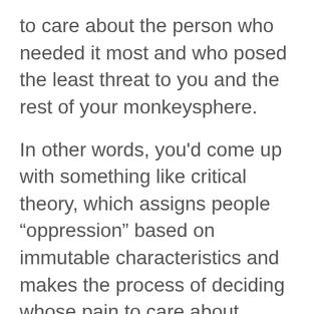to care about the person who needed it most and who posed the least threat to you and the rest of your monkeysphere.
In other words, you'd come up with something like critical theory, which assigns people “oppression” based on immutable characteristics and makes the process of deciding whose pain to care about infinitely simpler, because it’s just a matter of narrowing down the categories of “oppression” the person belongs to until you can be sure they’re at